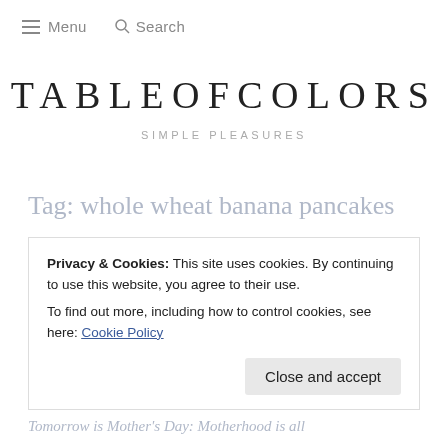≡ Menu  🔍 Search
TABLEOFCOLORS
SIMPLE PLEASURES
Tag: whole wheat banana pancakes
Privacy & Cookies: This site uses cookies. By continuing to use this website, you agree to their use.
To find out more, including how to control cookies, see here: Cookie Policy

Close and accept
Tomorrow is Mother's Day: Motherhood is all